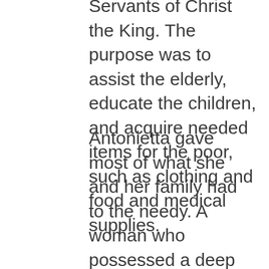Servants of Christ the King. The purpose was to assist the elderly, educate the children, and acquire needed items for the poor, such as clothing and food and medical supplies.
Antonietta gave most of what she and her family had to the needy. A woman who possessed a deep humility, she spent the rest of her life fighting severe pain and illness, yet never wavering in her mission to help those in need.